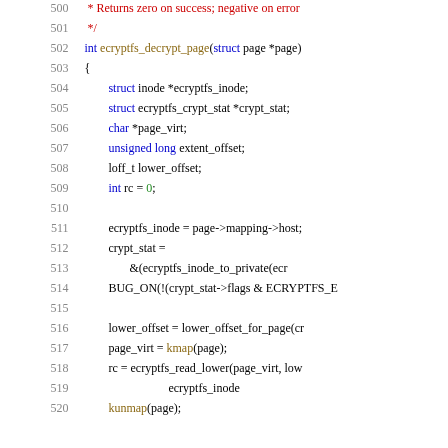[Figure (screenshot): Source code listing showing lines 500-520 of ecryptfs_decrypt_page function in C, with syntax highlighting. Line numbers in grey on left, keywords in blue, comments in red, function names in olive/gold, plain code in black.]